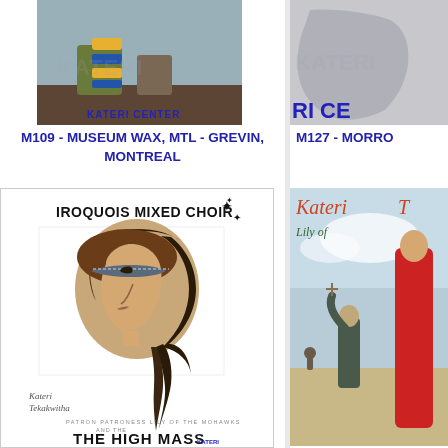[Figure (photo): Wax museum exhibit at Kateri Center, Montreal Grevin, showing a figure with striped stockings and 'KATERI CENTER' label in blue]
M109 - MUSEUM WAX, MTL - GREVIN, MONTREAL
[Figure (photo): Partial image showing 'RI CE' text in blue on a grey/pencil artwork background, Kateri Center watermark]
M127 - MORRO...
[Figure (illustration): Iroquois Mixed Choir poster featuring a pencil drawing of Kateri Tekakwitha in profile with headband and braided hair, with stars decoration, signature 'Kateri Tekakwitha', subtitle 'PATRON PATRONESS LILY OF THE MOHAWKS AND THE HIGH MASS' and KATERI CENTER logo]
[Figure (illustration): Book cover: 'Kateri T... Lily of...' with red-robed figure and priest in outdoor scene]